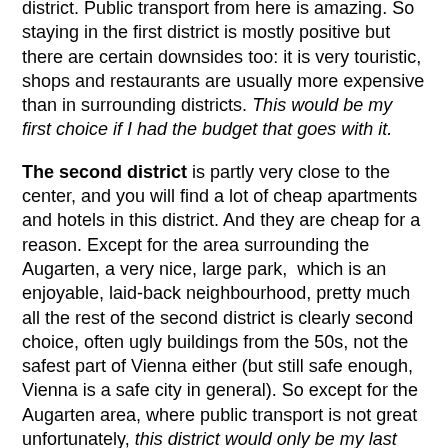district. Public transport from here is amazing. So staying in the first district is mostly positive but there are certain downsides too: it is very touristic, shops and restaurants are usually more expensive than in surrounding districts. This would be my first choice if I had the budget that goes with it.
The second district is partly very close to the center, and you will find a lot of cheap apartments and hotels in this district. And they are cheap for a reason. Except for the area surrounding the Augarten, a very nice, large park, which is an enjoyable, laid-back neighbourhood, pretty much all the rest of the second district is clearly second choice, often ugly buildings from the 50s, not the safest part of Vienna either (but still safe enough, Vienna is a safe city in general). So except for the Augarten area, where public transport is not great unfortunately, this district would only be my last choice (but still a choice, some other districts I consider as no choice...).
The third district is only recommendable in its part closest to the Ring street. It is a district with no clear personality. Still, not a bad choice if you get a good deal very close to the